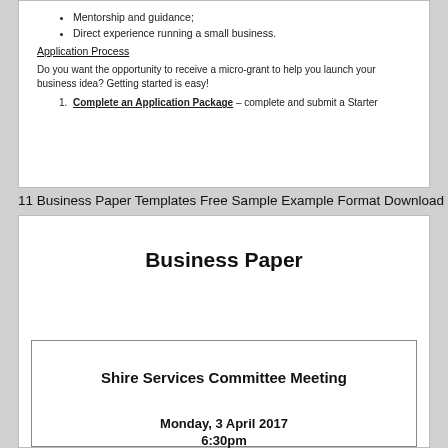Mentorship and guidance;
Direct experience running a small business.
Application Process
Do you want the opportunity to receive a micro-grant to help you launch your business idea? Getting started is easy!
1. Complete an Application Package – complete and submit a Starter
11 Business Paper Templates Free Sample Example Format Download
Business Paper
Shire Services Committee Meeting
Monday, 3 April 2017
6:30pm